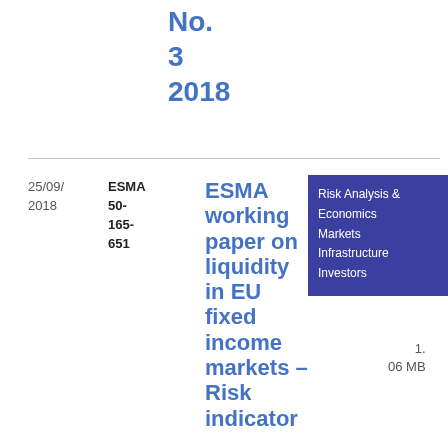No.
3
2018
| Date | Reference | Title | Tags | Type | File |
| --- | --- | --- | --- | --- | --- |
| 25/09/
2018 | ESMA
50-
165-
651 | ESMA working paper on liquidity in EU fixed income markets – Risk indicator | Risk Analysis & Economics · Markets · Infrastructure · Investors | Report | PDF
1.06 MB |